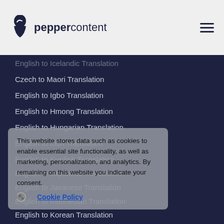peppercontent
English to Icelandic Translation
Czech to Maori Translation
English to Igbo Translation
English to Hmong Translation
English to Hungarian Translation
English to Irish Translation
English to Kurdish Translation
English to Japanese Translation
English to Javanese Translation
English to Indonesian Translation
English to Korean Translation
Arabic to Assyriac Translation
English to Khmer Translation
English to Kazakh Translation
English to Kinyarwanda Translation
English to Lithuanian Translation
This website stores data such as cookies to enable essential site functionality, as well as marketing, personalization, and analytics. By remaining on this website you indicate your consent.
Cookie Policy